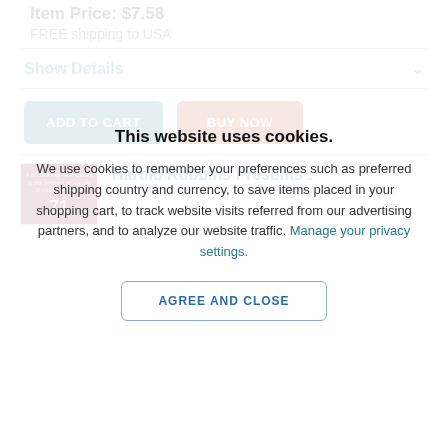Item Price: $7.58
FREE shipping to USA
Show Details
ADD TO CART
BUY NOW
[Figure (screenshot): Book thumbnail showing Harold Robbins book with dark red/maroon cover]
Harold Robbins Presents :
This website uses cookies.
We use cookies to remember your preferences such as preferred shipping country and currency, to save items placed in your shopping cart, to track website visits referred from our advertising partners, and to analyze our website traffic. Manage your privacy settings.
AGREE AND CLOSE